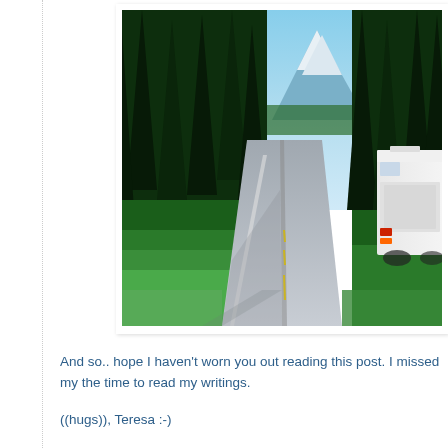[Figure (photo): An RV (recreational vehicle) driving down a straight highway through a dense forest of tall evergreen trees, with a snow-capped mountain peak visible in the background under a clear blue sky. The photo is displayed with a white border/mat frame.]
And so.. hope I haven't worn you out reading this post.  I missed my the time to read my writings.
((hugs)), Teresa :-)